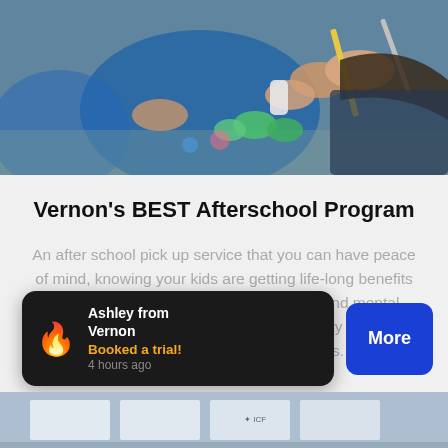[Figure (photo): Children's hands painting and crafting colorful objects at a table, showing an afterschool activity setting.]
Vernon's BEST Afterschool Program
An after school pick up service that you can have peace of mind, knowing your kids are getting life-long benefits of building confidence, focus, resilience and mental toughness. Plus lots of school holiday activity choices in our Vernon martial arts academies.
[Figure (screenshot): Social proof notification popup showing: Ashley from Vernon Booked a trial! 4 hours ago, with a flame emoji icon, and a blue 'More' button.]
[Figure (photo): Partial view of a martial arts or activity facility at the bottom of the page.]